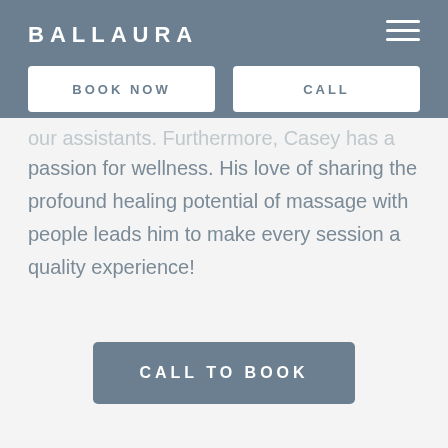BALLAURA
BOOK NOW    CALL
our assistants. Furthermore, Casey has a passion for wellness. His love of sharing the profound healing potential of massage with people leads him to make every session a quality experience!
CALL TO BOOK